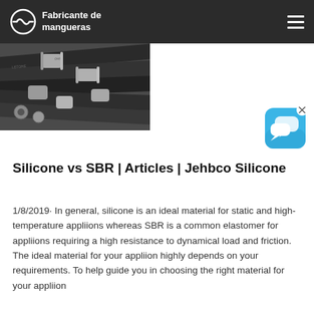Fabricante de mangueras
[Figure (photo): Industrial hydraulic hoses with metal fittings arranged together, dark rubber hoses with silver connectors]
[Figure (illustration): Blue chat/messaging widget icon with white speech bubbles, rounded square shape with X close button]
Silicone vs SBR | Articles | Jehbco Silicone
1/8/2019· In general, silicone is an ideal material for static and high-temperature appliions whereas SBR is a common elastomer for appliions requiring a high resistance to dynamical load and friction. The ideal material for your appliion highly depends on your requirements. To help guide you in choosing the right material for your appliion